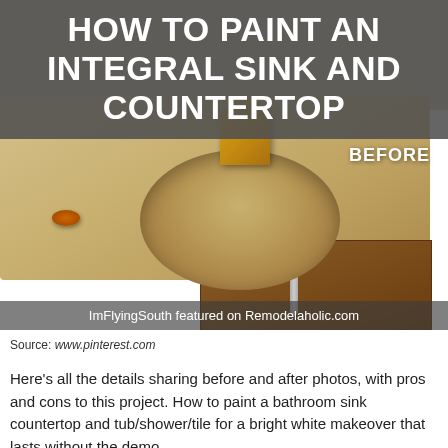HOW TO PAINT AN INTEGRAL SINK AND COUNTERTOP
[Figure (photo): Before photo of a beige/tan integral bathroom sink and countertop with gold faucet and wooden cabinet below. Text overlay reads 'ImFlyingSouth featured on Remodelaholic.com' and 'BEFORE' label in upper right.]
Source: www.pinterest.com
Here's all the details sharing before and after photos, with pros and cons to this project. How to paint a bathroom sink countertop and tub/shower/tile for a bright white makeover that lasts without the demo.